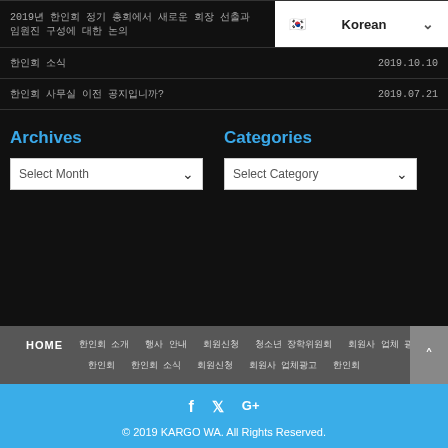2019년 한인회 정기 총회에서 새로운 회장 선출과 임원진 구성에 대한 논의
한인회 소식  2019.10.10
한인회 사무실 이전 공지입니까?  2019.07.21
Archives
Categories
Select Month
Select Category
HOME  한인회 소개  행사 안내  회원신청  청소년 장학위원회  회원사 업체 광고  한인회  한인회 소식  회원신청  회원사 업체광고  한인회
© 2019 KARGO WA. All Rights Reserved.